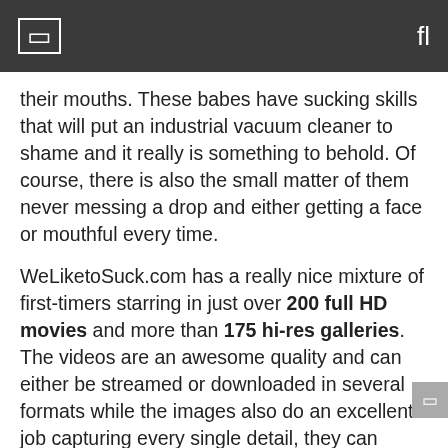[ ] fl
their mouths. These babes have sucking skills that will put an industrial vacuum cleaner to shame and it really is something to behold. Of course, there is also the small matter of them never messing a drop and either getting a face or mouthful every time.
WeLiketoSuck.com has a really nice mixture of first-timers starring in just over 200 full HD movies and more than 175 hi-res galleries. The videos are an awesome quality and can either be streamed or downloaded in several formats while the images also do an excellent job capturing every single detail, they can either be viewed in your browser or downloaded as zipped sets. A great bonus for all members is the fact that you get free access to the entire Puffy Network with your membership, that means you get to browse all the premium porn on their other four sites at no extra cost.